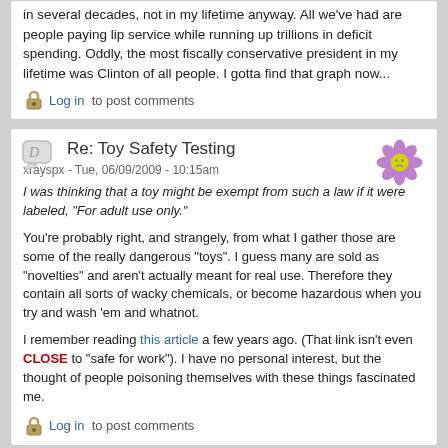in several decades, not in my lifetime anyway. All we've had are people paying lip service while running up trillions in deficit spending. Oddly, the most fiscally conservative president in my lifetime was Clinton of all people. I gotta find that graph now...
Log in to post comments
Re: Toy Safety Testing
xrayspx - Tue, 06/09/2009 - 10:15am
I was thinking that a toy might be exempt from such a law if it were labeled, "For adult use only."
You're probably right, and strangely, from what I gather those are some of the really dangerous "toys". I guess many are sold as "novelties" and aren't actually meant for real use. Therefore they contain all sorts of wacky chemicals, or become hazardous when you try and wash 'em and whatnot.
I remember reading this article a few years ago. (That link isn't even CLOSE to "safe for work"). I have no personal interest, but the thought of people poisoning themselves with these things fascinated me.
Log in to post comments